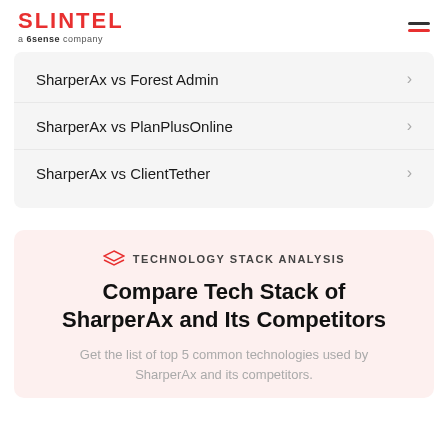SLINTEL a 6sense company
SharperAx vs Forest Admin
SharperAx vs PlanPlusOnline
SharperAx vs ClientTether
TECHNOLOGY STACK ANALYSIS
Compare Tech Stack of SharperAx and Its Competitors
Get the list of top 5 common technologies used by SharperAx and its competitors.